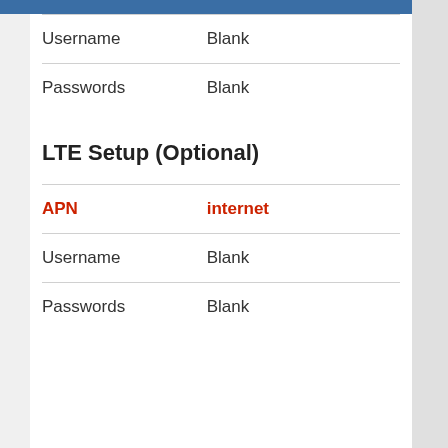| Field | Value |
| --- | --- |
| Username | Blank |
| Passwords | Blank |
LTE Setup (Optional)
| Field | Value |
| --- | --- |
| APN | internet |
| Username | Blank |
| Passwords | Blank |